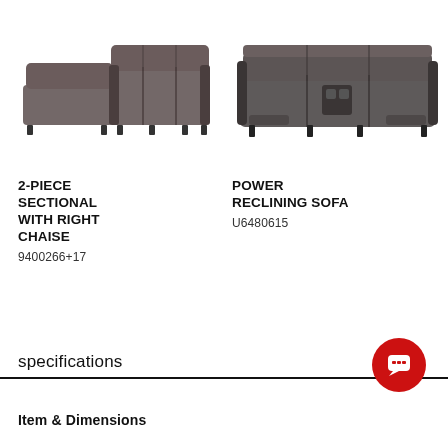[Figure (photo): 2-piece sectional sofa with right chaise in dark gray leather, L-shaped, viewed from front-right angle]
[Figure (photo): Power reclining sofa in dark gray leather with cup holders and power controls, viewed from front angle]
2-PIECE SECTIONAL WITH RIGHT CHAISE
9400266+17
POWER RECLINING SOFA
U6480615
specifications
Item & Dimensions